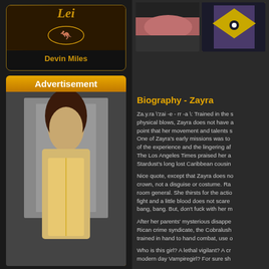[Figure (photo): Profile card with 'Devin Miles' name and kangaroo logo on dark background with gold border]
Advertisement
[Figure (photo): Advertisement image showing a woman in a gold/yellow dress]
[Figure (photo): Two thumbnail photos: one showing a woman's face/lips, one showing a person in colorful costume]
Biography - Zayra
Za.y.ra \zai -e - rr -a \: Trained in the s physical blows, Zayra does not have a point that her movement and talents s One of Zayra's early missions was to of the experience and the lingering af The Los Angeles Times praised her a Stardust's long lost Caribbean cousin
Nice quote, except that Zayra does n crown, not a disguise or costume. Ra room general. She thirsts for the acti fight and a little blood does not scare bang, bang. But, don't fuck with her m
After her parents' mysterious disapp Rican crime syndicate, the Cobralush trained in hand to hand combat, use o
Who is this girl? A lethal vigilant? A c modern day Vampiregirl? For sure sh